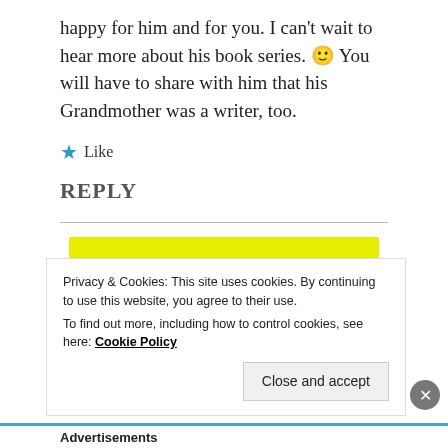happy for him and for you. I can't wait to hear more about his book series. 🙂 You will have to share with him that his Grandmother was a writer, too.
★ Like
REPLY
[Figure (logo): P2. logo on yellow background with 'Powered by' WordPress logo in bottom right]
Privacy & Cookies: This site uses cookies. By continuing to use this website, you agree to their use. To find out more, including how to control cookies, see here: Cookie Policy
Close and accept
Advertisements